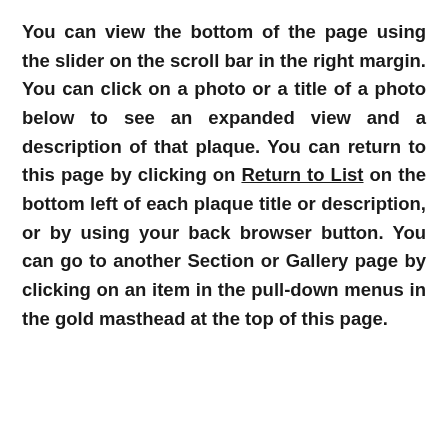You can view the bottom of the page using the slider on the scroll bar in the right margin. You can click on a photo or a title of a photo below to see an expanded view and a description of that plaque. You can return to this page by clicking on Return to List on the bottom left of each plaque title or description, or by using your back browser button. You can go to another Section or Gallery page by clicking on an item in the pull-down menus in the gold masthead at the top of this page.